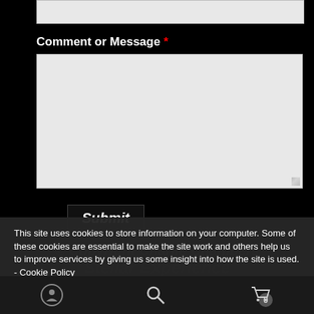[Figure (screenshot): Top input field (partially visible, gray/light background text box)]
Comment or Message *
[Figure (screenshot): Large textarea input box for comment or message, light gray background]
Submit
© Copyright Charlie Chambers
Stellar Experience
This site uses cookies to store information on your computer. Some of these cookies are essential to make the site work and others help us to improve services by giving us some insight into how the site is used. - Cookie Policy
I agree
[Figure (screenshot): Bottom navigation bar with social icon, search icon, and cart icon with badge showing 0]